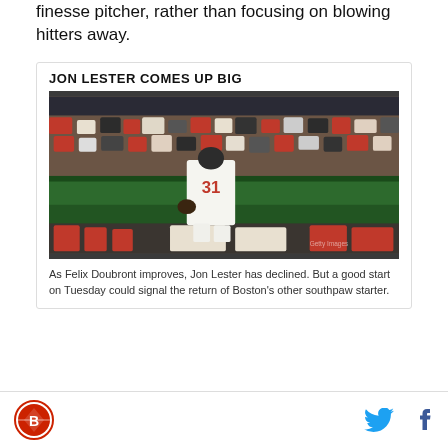finesse pitcher, rather than focusing on blowing hitters away.
JON LESTER COMES UP BIG
[Figure (photo): Baseball player wearing jersey number 31 walking away from camera toward dugout area, crowd of fans in stadium stands applauding in the background. Player is in white uniform.]
As Felix Doubront improves, Jon Lester has declined. But a good start on Tuesday could signal the return of Boston's other southpaw starter.
Logo and social media sharing icons (Twitter, Facebook)